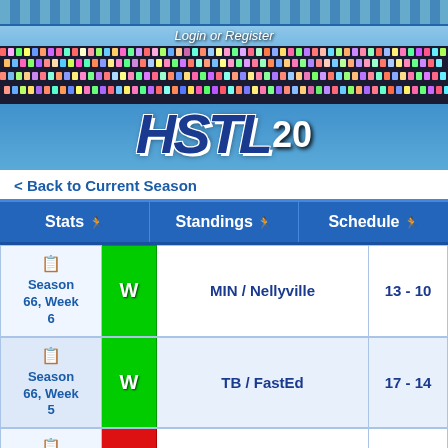[Figure (screenshot): HSTL 20 game website header with stadium background, crowd, and logo]
Login or Register
< Back to Current Season
|  | Result | Opponent | Score |
| --- | --- | --- | --- |
| Season 66, Week 6 | W | MIN / Nellyville | 13 - 10 |
| Season 66, Week 5 | W | TB / FastEd | 17 - 14 |
| Season | L | @CHI / Tecmo DPS | 7 - 24 |